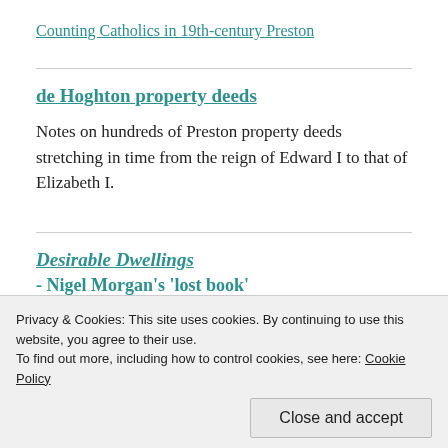Counting Catholics in 19th-century Preston
de Hoghton property deeds
Notes on hundreds of Preston property deeds stretching in time from the reign of Edward I to that of Elizabeth I.
Desirable Dwellings - Nigel Morgan's 'lost book'
Privacy & Cookies: This site uses cookies. By continuing to use this website, you agree to their use.
To find out more, including how to control cookies, see here: Cookie Policy